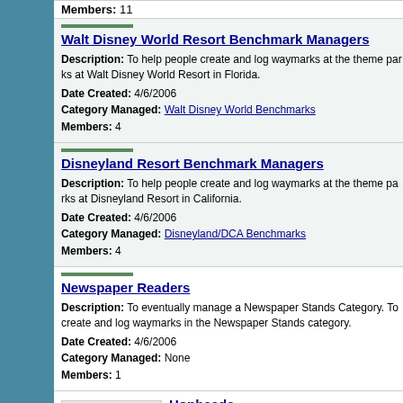Members: 11
Walt Disney World Resort Benchmark Managers
Description: To help people create and log waymarks at the theme parks at Walt Disney World Resort in Florida.
Date Created: 4/6/2006
Category Managed: Walt Disney World Benchmarks
Members: 4
Disneyland Resort Benchmark Managers
Description: To help people create and log waymarks at the theme parks at Disneyland Resort in California.
Date Created: 4/6/2006
Category Managed: Disneyland/DCA Benchmarks
Members: 4
Newspaper Readers
Description: To eventually manage a Newspaper Stands Category. To create and log waymarks in the Newspaper Stands category.
Date Created: 4/6/2006
Category Managed: None
Members: 1
Hopheads
Description: